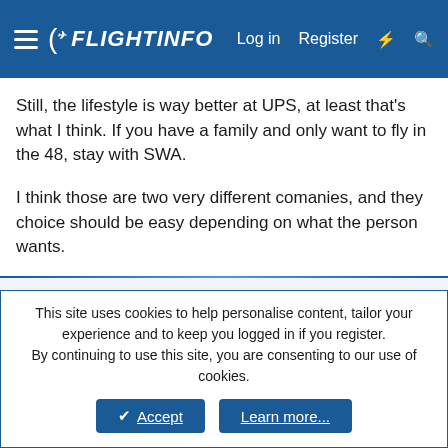FlightInfo — Log in | Register
Still, the lifestyle is way better at UPS, at least that's what I think. If you have a family and only want to fly in the 48, stay with SWA.

I think those are two very different comanies, and they choice should be easy depending on what the person wants.
Reply
WillowRunVortex
Former Sleepless Knight
Jul 3, 2005  #7
This site uses cookies to help personalise content, tailor your experience and to keep you logged in if you register.
By continuing to use this site, you are consenting to our use of cookies.